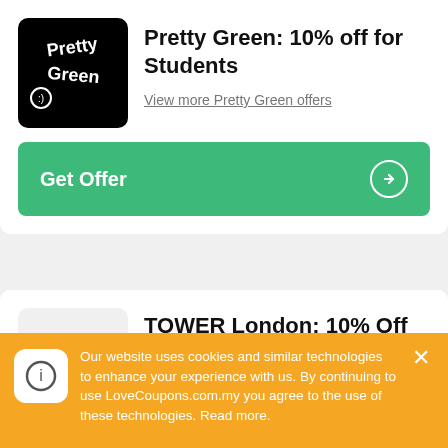[Figure (logo): Pretty Green brand logo: white stylized cursive text on black rounded square]
Pretty Green: 10% off for Students
View more Pretty Green offers
Get Offer →
[Figure (logo): Tower London logo: yellow tower icon above bold black 'Tower' text on light grey rounded square]
TOWER London: 10% Off Student Discount
Shop and get 10% off on student discount.
View more TOWER London offers
Our website uses cookies and similar technologies to enhance your experience with us. By continuing to use LoveCoupons.com.my you agree to the use of these technologies. Read more.